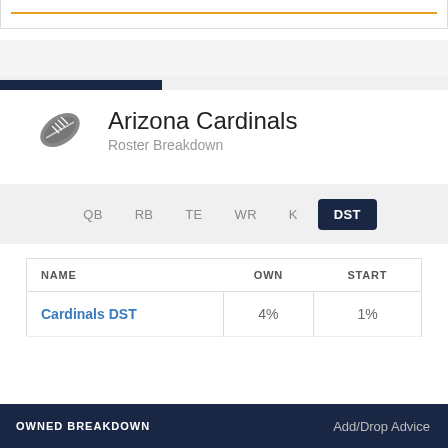DEPTH CHART
Arizona Cardinals
Roster Breakdown
QB  RB  TE  WR  K  DST
| NAME | OWN | START |
| --- | --- | --- |
| Cardinals DST | 4% | 1% |
OWNED BREAKDOWN   Add/Drop Advice